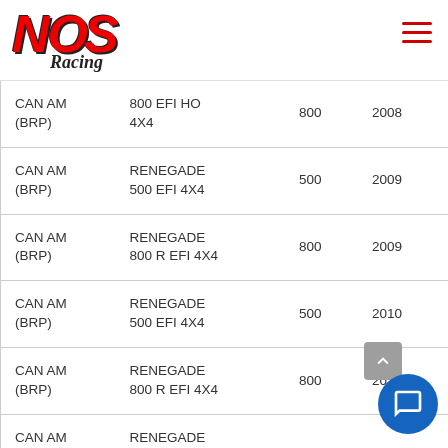NOS Racing
| Make | Model | CC | Year |
| --- | --- | --- | --- |
| CAN AM (BRP) | 800 EFI HO 4X4 | 800 | 2008 |
| CAN AM (BRP) | RENEGADE 500 EFI 4X4 | 500 | 2009 |
| CAN AM (BRP) | RENEGADE 800 R EFI 4X4 | 800 | 2009 |
| CAN AM (BRP) | RENEGADE 500 EFI 4X4 | 500 | 2010 |
| CAN AM (BRP) | RENEGADE 800 R EFI 4X4 | 800 | 2010 |
| CAN AM | RENEGADE |  |  |